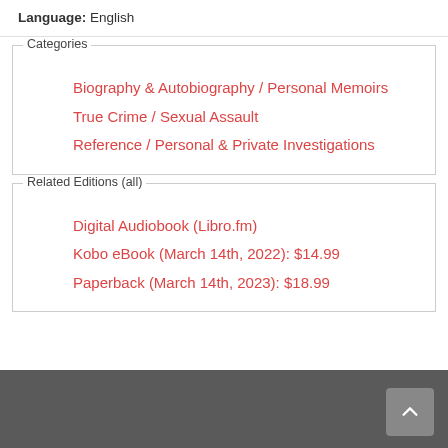Language: English
Categories
Biography & Autobiography / Personal Memoirs
True Crime / Sexual Assault
Reference / Personal & Private Investigations
Related Editions (all)
Digital Audiobook (Libro.fm)
Kobo eBook (March 14th, 2022): $14.99
Paperback (March 14th, 2023): $18.99